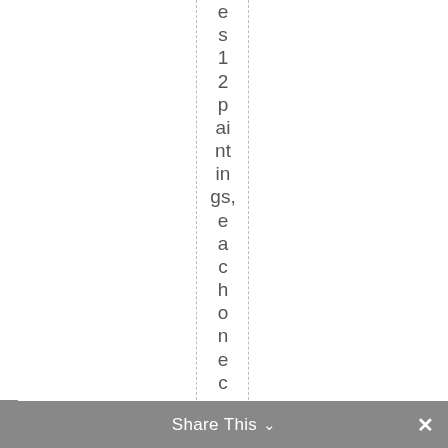es12paintings,eachonecomposed
Share This  ×